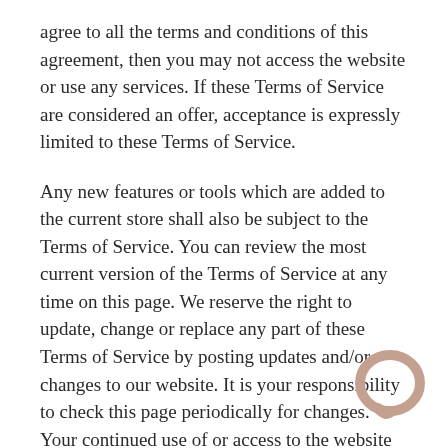agree to all the terms and conditions of this agreement, then you may not access the website or use any services. If these Terms of Service are considered an offer, acceptance is expressly limited to these Terms of Service.
Any new features or tools which are added to the current store shall also be subject to the Terms of Service. You can review the most current version of the Terms of Service at any time on this page. We reserve the right to update, change or replace any part of these Terms of Service by posting updates and/or changes to our website. It is your responsibility to check this page periodically for changes. Your continued use of or access to the website following the posting of any changes constitutes acceptance of those changes.
Our store is hosted on Shopify Inc. They provide us with an online e-commerce platform that allows us to sell our products and services to you.